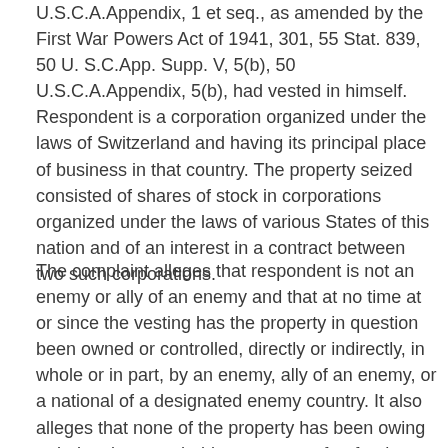U.S.C.A.Appendix, 1 et seq., as amended by the First War Powers Act of 1941, 301, 55 Stat. 839, 50 U. S.C.App. Supp. V, 5(b), 50 U.S.C.A.Appendix, 5(b), had vested in himself. Respondent is a corporation organized under the laws of Switzerland and having its principal place of business in that country. The property seized consisted of shares of stock in corporations organized under the laws of various States of this nation and of an interest in a contract between two such corporations.
The complaint alleges that respondent is not an enemy or ally of an enemy and that at no time at or since the vesting has the property in question been owned or controlled, directly or indirectly, in whole or in part, by an enemy, ally of an enemy, or a national of a designated enemy country. It also alleges that none of the property has been owing or belonging to or held on account of or for the benefit of any such person or interest. We construe these allegations to mean that the property is free of all enemy taint and...